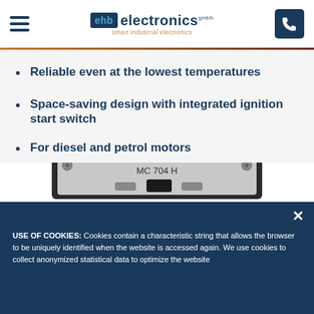ehb electronics gmbh — smart industrial electronics
Reliable even at the lowest temperatures
Space-saving design with integrated ignition start switch
For diesel and petrol motors
[Figure (photo): Product photo of MC 704 H electronic module, a rectangular black and silver device with label MC 704 H and mounting screws at corners]
USE OF COOKIES: Cookies contain a characteristic string that allows the browser to be uniquely identified when the website is accessed again. We use cookies to collect anonymized statistical data to optimize the website